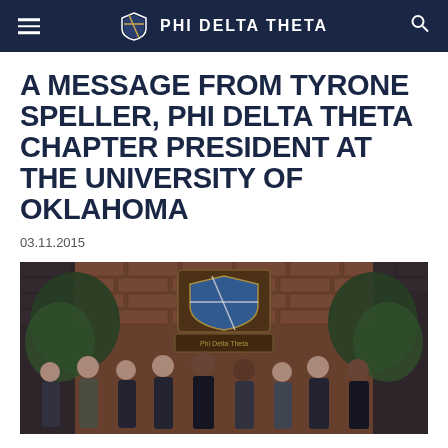PHI DELTA THETA
A MESSAGE FROM TYRONE SPELLER, PHI DELTA THETA CHAPTER PRESIDENT AT THE UNIVERSITY OF OKLAHOMA
03.11.2015
[Figure (photo): Group photo of Phi Delta Theta fraternity members standing together in front of a brick wall with the fraternity crest/plaque, with greenery decorations on either side. About 9 young men dressed in business casual attire.]